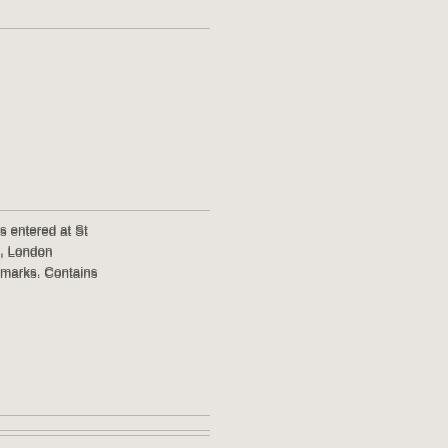s entered at St
, London
marks. Contains
s entered at St
s, London
marks. Contains